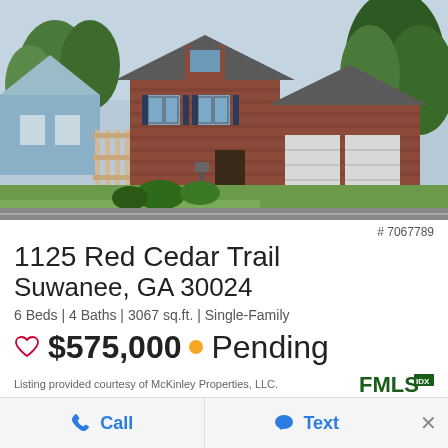[Figure (photo): Exterior photo of a two-story brick single-family home with two-car garage, green lawn, and trees in Suwanee, GA neighborhood]
# 7067789
1125 Red Cedar Trail
Suwanee, GA 30024
6 Beds | 4 Baths | 3067 sq.ft. | Single-Family
♡ $575,000 • Pending
Listing provided courtesy of McKinley Properties, LLC.
[Figure (logo): FMLS IDX logo in dark green]
Call
Text